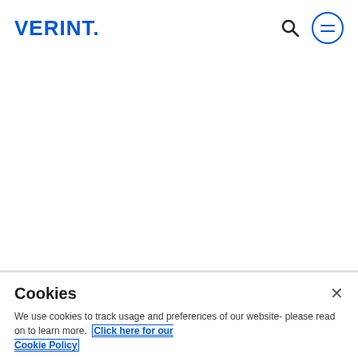[Figure (logo): Verint logo in blue bold text with a period after the T]
[Figure (infographic): Navigation icons: search icon (magnifying glass) and a circular menu button with two horizontal lines (hamburger menu) in blue]
Cookies
We use cookies to track usage and preferences of our website- please read on to learn more.  Click here for our Cookie Policy